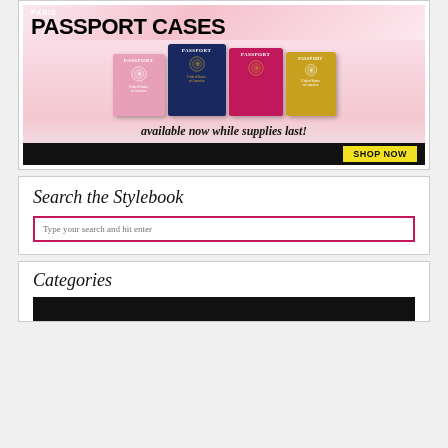[Figure (photo): Advertisement for Paris Passport Cases showing four passport covers in pink, navy, blue, magenta, and yellow/gold colors. Text reads 'PARIS PASSPORT CASES', 'available now while supplies last!', with a black bar and yellow 'SHOP NOW' button.]
Search the Stylebook
Type your search and hit enter
Categories